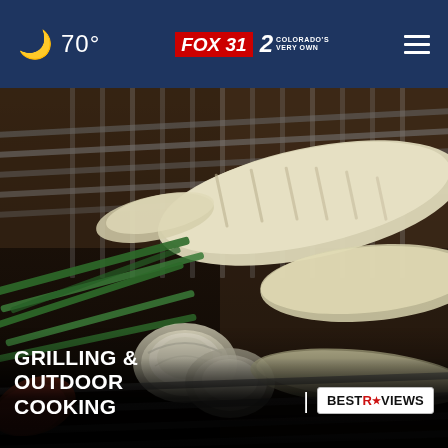🌙 70° | FOX 31 2 COLORADO'S VERY OWN | ☰
[Figure (photo): Close-up photo of vegetables and corn grilling on a barbecue grill with grates visible, dark and moody lighting]
GRILLING & OUTDOOR COOKING
[Figure (logo): BestReviews logo in a white rounded rectangle badge]